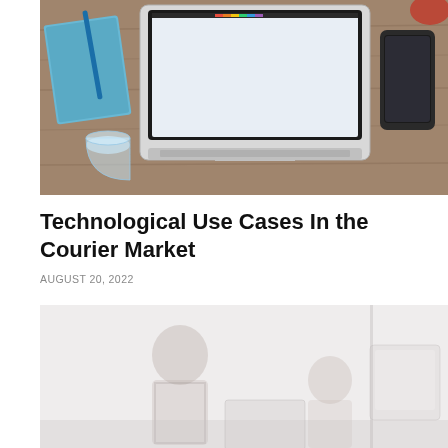[Figure (photo): Overhead view of a laptop computer on a wooden desk with a glass of water, notebook with blue pen, and a smartphone beside the laptop.]
Technological Use Cases In the Courier Market
AUGUST 20, 2022
[Figure (photo): Faded/washed-out photo of people working together at a desk with computers, showing a man and woman in an office setting.]